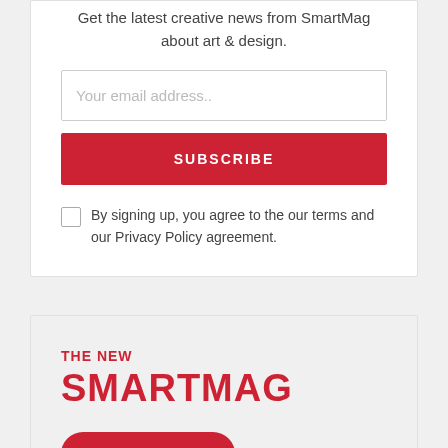Get the latest creative news from SmartMag about art & design.
Your email address..
SUBSCRIBE
By signing up, you agree to the our terms and our Privacy Policy agreement.
THE NEW
SMARTMAG
GET STARTED